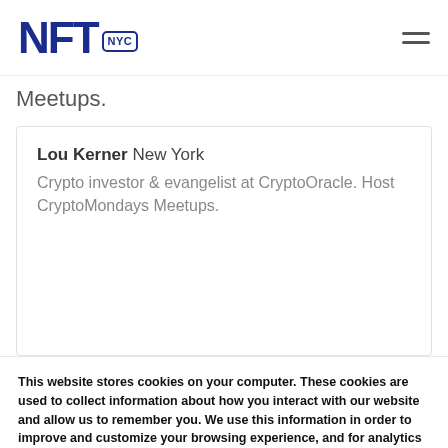NFT NYC
Meetups.
Lou Kerner New York
Crypto investor & evangelist at CryptoOracle. Host CryptoMondays Meetups.
This website stores cookies on your computer. These cookies are used to collect information about how you interact with our website and allow us to remember you. We use this information in order to improve and customize your browsing experience, and for analytics and metrics about our visitors both on this website and other media. To find out more about the cookies we use, see our Privacy Policy.
ACCEPT
DECLINE